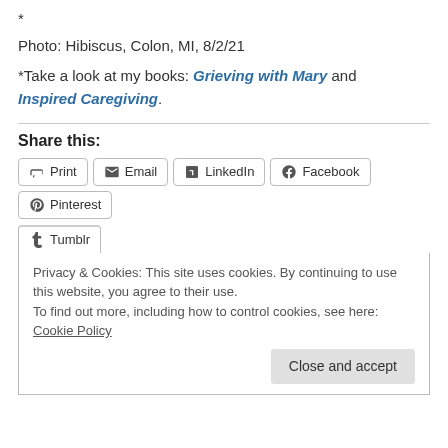*
Photo: Hibiscus, Colon, MI, 8/2/21
*Take a look at my books: Grieving with Mary and Inspired Caregiving.
Share this:
Print | Email | LinkedIn | Facebook | Pinterest | Tumblr
Privacy & Cookies: This site uses cookies. By continuing to use this website, you agree to their use.
To find out more, including how to control cookies, see here: Cookie Policy
Close and accept